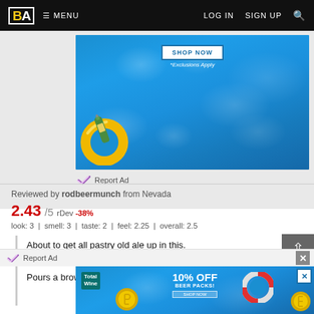BA  ≡ MENU    LOG IN   SIGN UP   🔍
[Figure (photo): Advertisement banner showing a swimming pool with blue water ripples, a yellow inflatable ring with a green bottle, 'SHOP NOW' button, and '*Exclusions Apply' text]
Report Ad
Reviewed by rodbeermunch from Nevada
2.43/5  rDev -38%
look: 3 | smell: 3 | taste: 2 | feel: 2.25 | overall: 2.5
About to get all pastry old ale up in this.
Pours a brown color, looks kind of thin. Smells like
Report Ad
[Figure (photo): Advertisement banner for Total Wine showing a swimming pool with blue water, a life ring, gold coins, '10% OFF BEER PACKS!' text, and a shop now button]